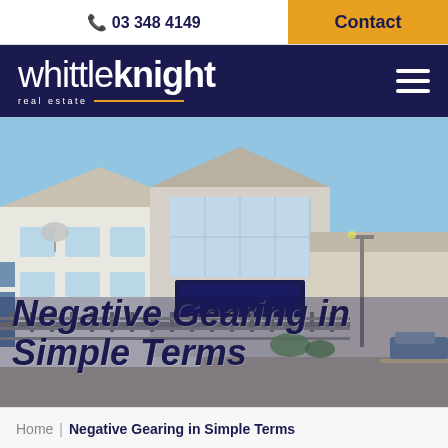📞 03 348 4149 | Contact
[Figure (logo): Whittle Knight Real Estate logo — white text on dark navy background with gold underline. Hamburger menu icon on the right.]
[Figure (photo): Exterior photo of Whittle Knight real estate office building — two-storey white and blue building with iron fence, street scene, blue sky.]
Negative Gearing in Simple Terms
Home | Negative Gearing in Simple Terms